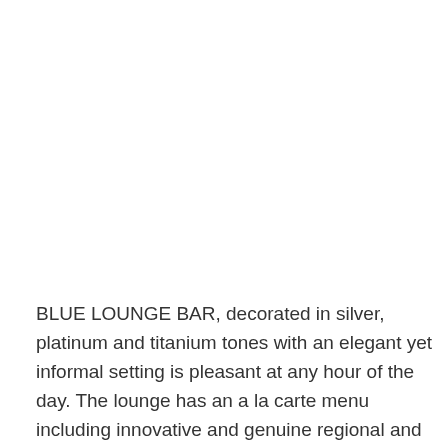BLUE LOUNGE BAR, decorated in silver, platinum and titanium tones with an elegant yet informal setting is pleasant at any hour of the day. The lounge has an a la carte menu including innovative and genuine regional and Mediterranean cuisine and a wide selection of Italian wines from the best bodegas. Don't miss the excellent